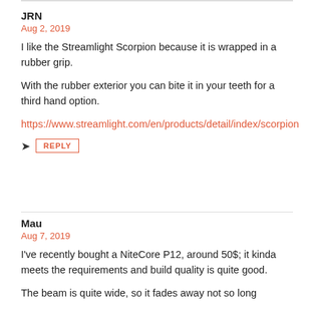JRN
Aug 2, 2019
I like the Streamlight Scorpion because it is wrapped in a rubber grip.
With the rubber exterior you can bite it in your teeth for a third hand option.
https://www.streamlight.com/en/products/detail/index/scorpion
Mau
Aug 7, 2019
I've recently bought a NiteCore P12, around 50$; it kinda meets the requirements and build quality is quite good.
The beam is quite wide, so it fades away not so long